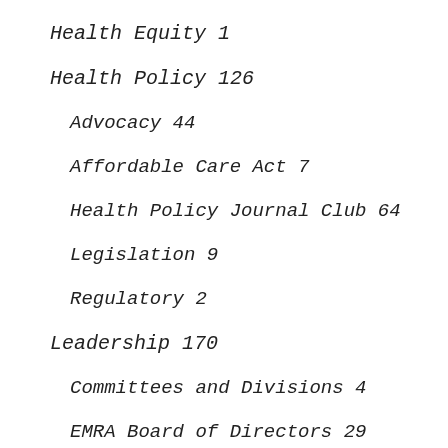Health Equity 1
Health Policy 126
Advocacy 44
Affordable Care Act 7
Health Policy Journal Club 64
Legislation 9
Regulatory 2
Leadership 170
Committees and Divisions 4
EMRA Board of Directors 29